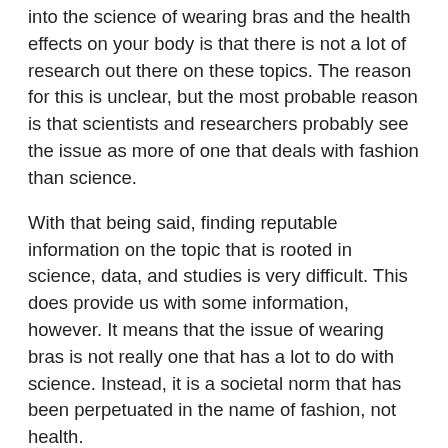into the science of wearing bras and the health effects on your body is that there is not a lot of research out there on these topics. The reason for this is unclear, but the most probable reason is that scientists and researchers probably see the issue as more of one that deals with fashion than science.
With that being said, finding reputable information on the topic that is rooted in science, data, and studies is very difficult. This does provide us with some information, however. It means that the issue of wearing bras is not really one that has a lot to do with science. Instead, it is a societal norm that has been perpetuated in the name of fashion, not health.
That's not to say that there are not benefits to wearing a bra, but it also means that there's likely not anything wrong with not wearing one.